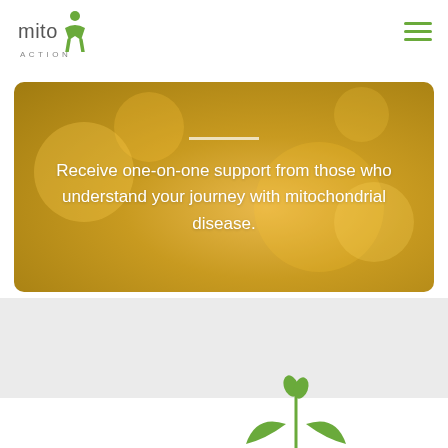mito ACTION
Receive one-on-one support from those who understand your journey with mitochondrial disease.
[Figure (illustration): Green plant/leaf sprout logo icon partially visible at the bottom of the page]